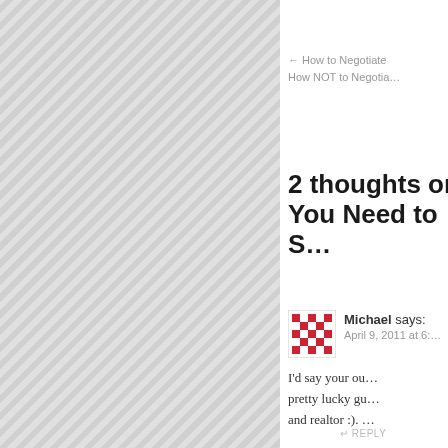← How to Negotiate
How NOT to Negotia…
2 thoughts on
You Need to S…
Michael says:
April 9, 2011 at 6:…
I'd say your ou… pretty lucky gu… and realtor :). …
↵ REPLY